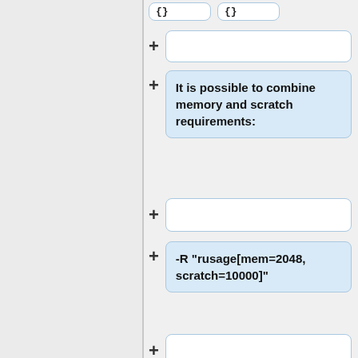{}
{}
It is possible to combine memory and scratch requirements:
-R "rusage[mem=2048, scratch=10000]"
'''Note''': Unlike memory, the batch system '''does not''' reserve any disk space for